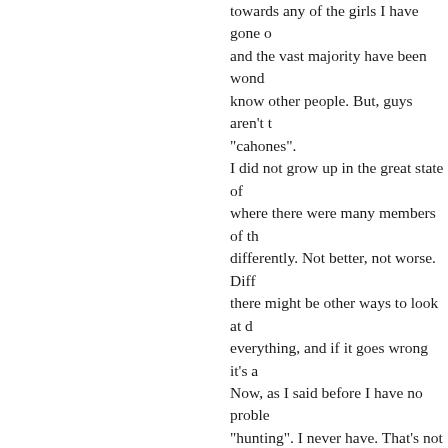towards any of the girls I have gone out with and the vast majority have been wonderful to know other people. But, guys aren't the "cahones". I did not grow up in the great state of where there were many members of the differently. Not better, not worse. Differently. there might be other ways to look at everything, and if it goes wrong it's a Now, as I said before I have no problem "hunting". I never have. That's not just an attribute you have to have to survive in women's own way they need to possess may be in different ways. But women happens in their life as well. And that However, at the risk of contradicting the guys for the majority of the hardship believe that the girls will follow the lead mean that in a chauvinistic way at all